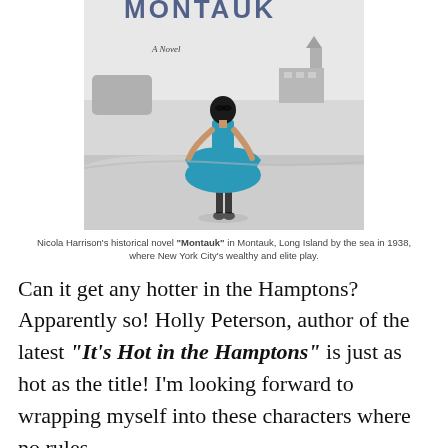[Figure (photo): Book cover of 'Montauk' - a novel. Shows a woman in a teal/blue dress standing on a beach viewed from behind, with a lighthouse and buildings in the black-and-white background.]
Nicola Harrison's historical novel "Montauk" in Montauk, Long Island by the sea in 1938, where New York City's wealthy and elite play.
Can it get any hotter in the Hamptons? Apparently so! Holly Peterson, author of the latest "It's Hot in the Hamptons" is just as hot as the title! I'm looking forward to wrapping myself into these characters where no rules